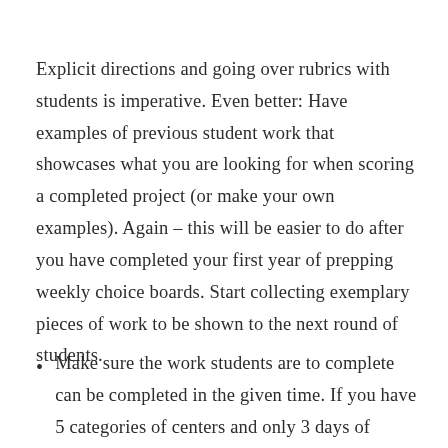Explicit directions and going over rubrics with students is imperative. Even better: Have examples of previous student work that showcases what you are looking for when scoring a completed project (or make your own examples). Again – this will be easier to do after you have completed your first year of prepping weekly choice boards. Start collecting exemplary pieces of work to be shown to the next round of students.
Make sure the work students are to complete can be completed in the given time. If you have 5 categories of centers and only 3 days of